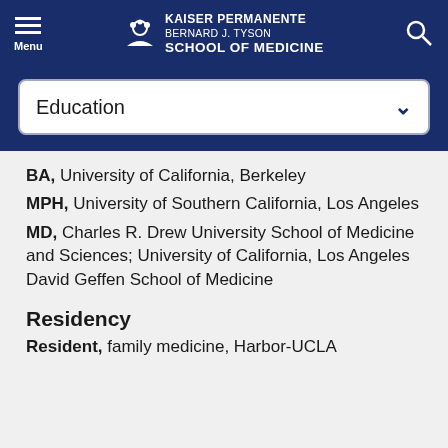Kaiser Permanente Bernard J. Tyson School of Medicine
Education
BA, University of California, Berkeley
MPH, University of Southern California, Los Angeles
MD, Charles R. Drew University School of Medicine and Sciences; University of California, Los Angeles David Geffen School of Medicine
Residency
Resident, family medicine, Harbor-UCLA